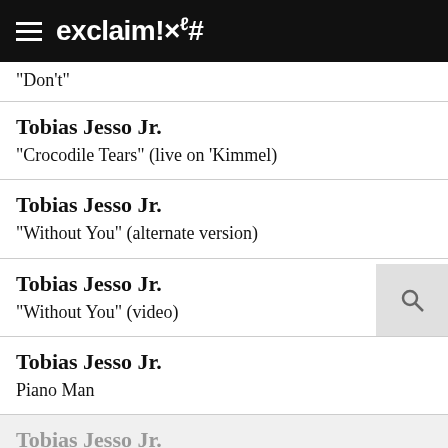exclaim!×ℓ#
"Don't"
Tobias Jesso Jr.
"Crocodile Tears" (live on 'Kimmel)
Tobias Jesso Jr.
"Without You" (alternate version)
Tobias Jesso Jr.
"Without You" (video)
Tobias Jesso Jr.
Piano Man
Tobias Jesso Jr.